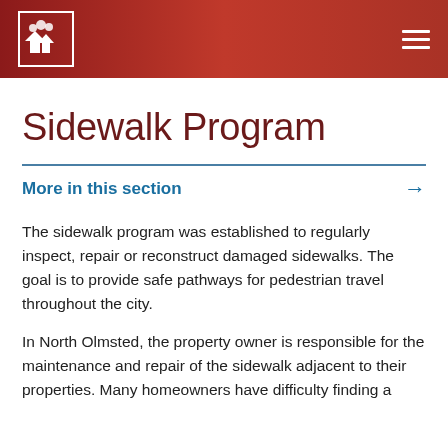Sidewalk Program — City of North Olmsted header with logo and navigation menu
Sidewalk Program
More in this section →
The sidewalk program was established to regularly inspect, repair or reconstruct damaged sidewalks. The goal is to provide safe pathways for pedestrian travel throughout the city.
In North Olmsted, the property owner is responsible for the maintenance and repair of the sidewalk adjacent to their properties. Many homeowners have difficulty finding a